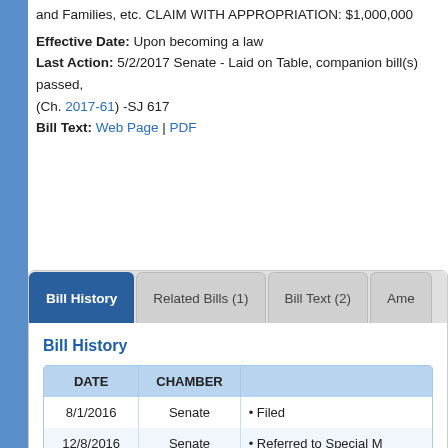and Families, etc. CLAIM WITH APPROPRIATION: $1,000,000
Effective Date: Upon becoming a law
Last Action: 5/2/2017 Senate - Laid on Table, companion bill(s) passed, (Ch. 2017-61) -SJ 617
Bill Text: Web Page | PDF
Bill History
| DATE | CHAMBER |  |
| --- | --- | --- |
| 8/1/2016 | Senate | • Filed |
| 12/8/2016 | Senate | • Referred to Special M... |